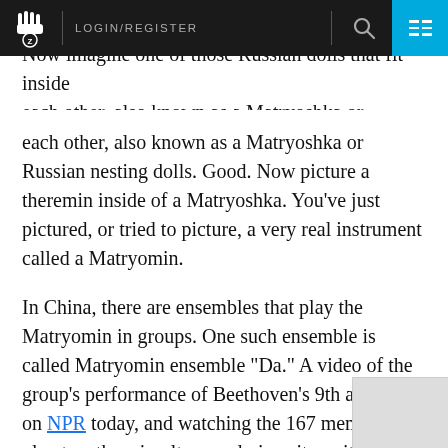LOGIN/REGISTER
Now imagine one of those Russian dolls that fit inside each other, also known as a Matryoshka or Russian nesting dolls. Good. Now picture a theremin inside of a Matryoshka. You've just pictured, or tried to picture, a very real instrument called a Matryomin.
In China, there are ensembles that play the Matryomin in groups. One such ensemble is called Matryomin ensemble "Da." A video of the group's performance of Beethoven's 9th appeared on NPR today, and watching the 167 members play together simultaneously is quite a site. In this video they play Beethoven's 9th with their own added "boogie," which kicks in around the 1:30 mark.
Watch the full performance above. You can watch more Matryomin videos here.